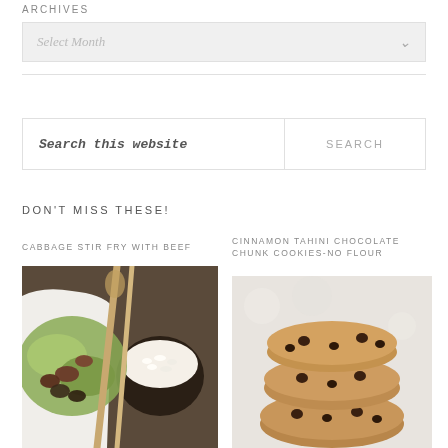ARCHIVES
Select Month
Search this website
SEARCH
DON'T MISS THESE!
CABBAGE STIR FRY WITH BEEF
[Figure (photo): Photo of cabbage stir fry with beef served with a bowl of white rice, wooden spoons on a dark table]
CINNAMON TAHINI CHOCOLATE CHUNK COOKIES-NO FLOUR
[Figure (photo): Photo of stacked cinnamon tahini chocolate chunk cookies on a light background]